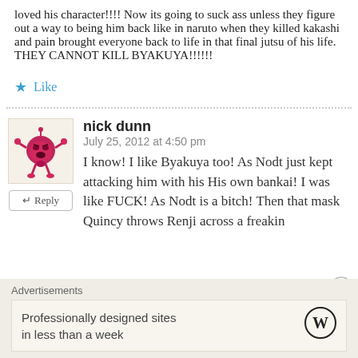loved his character!!!! Now its going to suck ass unless they figure out a way to being him back like in naruto when they killed kakashi and pain brought everyone back to life in that final jutsu of his life. THEY CANNOT KILL BYAKUYA!!!!!!
★ Like
nick dunn
July 25, 2012 at 4:50 pm
I know! I like Byakuya too! As Nodt just kept attacking him with his His own bankai! I was like FUCK! As Nodt is a bitch! Then that mask Quincy throws Renji across a freakin
↵ Reply
Advertisements
Professionally designed sites in less than a week